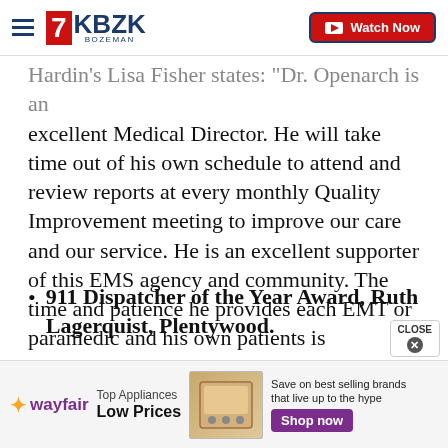KBZK Bozeman — Watch Now
Hardin's Lisa Fisher states: "Dr. Openarch is an excellent Medical Director. He will take time out of his own schedule to attend and review reports at every monthly Quality Improvement meeting to improve our care and our service. He is an excellent supporter of this EMS agency and community. The time and patience he provides each EMT or paramedic and his own patients is invaluable."
911 Dispatcher of the Year Award, Ruth Lagerquist, Plentywood.
This award recognizes a 911 dispatcher who has
[Figure (other): Wayfair advertisement banner: Top Appliances Low Prices, Save on best selling brands that live up to the hype, Shop now button]